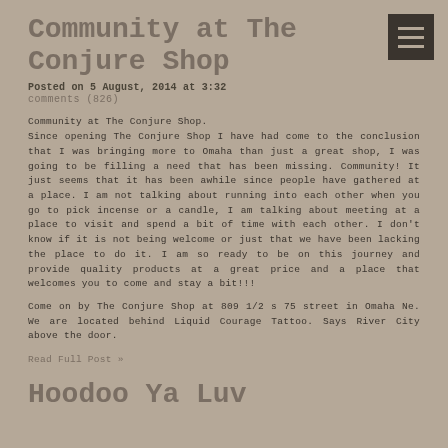Community at The Conjure Shop
Posted on 5 August, 2014 at 3:32
comments (826)
Community at The Conjure Shop. Since opening The Conjure Shop I have had come to the conclusion that I was bringing more to Omaha than just a great shop, I was going to be filling a need that has been missing. Community! It just seems that it has been awhile since people have gathered at a place. I am not talking about running into each other when you go to pick incense or a candle, I am talking about meeting at a place to visit and spend a bit of time with each other. I don't know if it is not being welcome or just that we have been lacking the place to do it. I am so ready to be on this journey and provide quality products at a great price and a place that welcomes you to come and stay a bit!!!
Come on by The Conjure Shop at 809 1/2 s 75 street in Omaha Ne. We are located behind Liquid Courage Tattoo. Says River City above the door.
Read Full Post »
Hoodoo Ya Luv